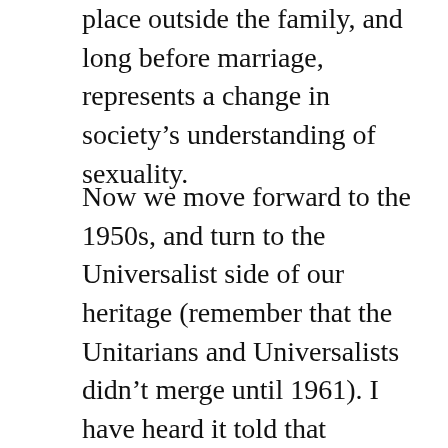place outside the family, and long before marriage, represents a change in society's understanding of sexuality.
Now we move forward to the 1950s, and turn to the Universalist side of our heritage (remember that the Unitarians and Universalists didn't merge until 1961). I have heard it told that Kenneth Patton, the Universalist minister at the revolutionary Charles Street Meetinghouse in Boston, apparently conducted same sex union or marriage ceremonies there in the 1950s; but it was not the sort of thing that could be made public, not in those days, so we know little more than that such ceremonies probably took place. Obviously, this represents